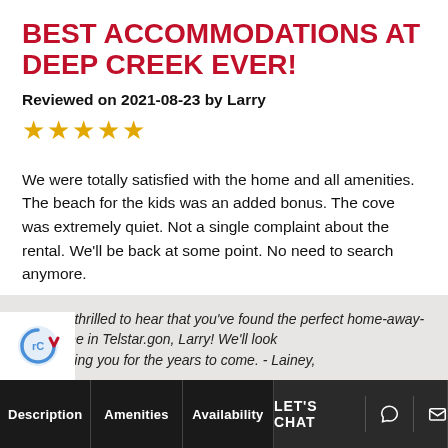BEST ACCOMMODATIONS AT DEEP CREEK EVER!
Reviewed on 2021-08-23 by Larry
★★★★★
We were totally satisfied with the home and all amenities. The beach for the kids was an added bonus. The cove was extremely quiet. Not a single complaint about the rental. We'll be back at some point. No need to search anymore.
We're so thrilled to hear that you've found the perfect home-away-from-home in Telstar.gon, Larry! We'll look forward to hosting you for the years to come. - Lainey,
Description | Amenities | Availability | LET'S CHAT